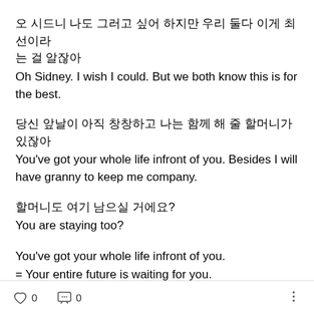오 시드니 나도 그러고 싶어 하지만 우리 둘다 이게 최선이라는 걸 알잖아
Oh Sidney. I wish I could. But we both know this is for the best.
당신 앞날이 아직 창창하고 나는 함께 해 줄 할머니가 있잖아
You've got your whole life infront of you. Besides I will have granny to keep me company.
할머니도 여기 남으실 거에요?
You are staying too?
You've got your whole life infront of you.
= Your entire future is waiting for you.
= You've got so much to live for.
0  0